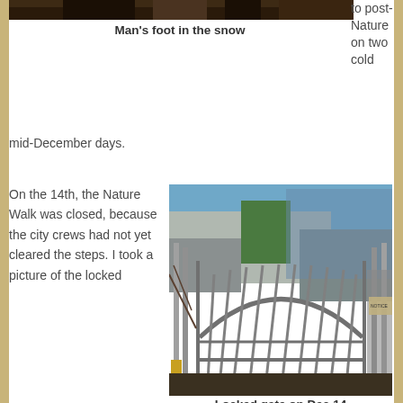[Figure (photo): Top portion of a photo showing man's foot in the snow, only the very bottom strip visible]
Man's foot in the snow
to post-Nature on two cold mid-December days.
On the 14th, the Nature Walk was closed, because the city crews had not yet cleared the steps. I took a picture of the locked
[Figure (photo): Locked metal gate with arched decorative ironwork bars, building with green panel visible in background, blue sky]
Locked gate on Dec 14